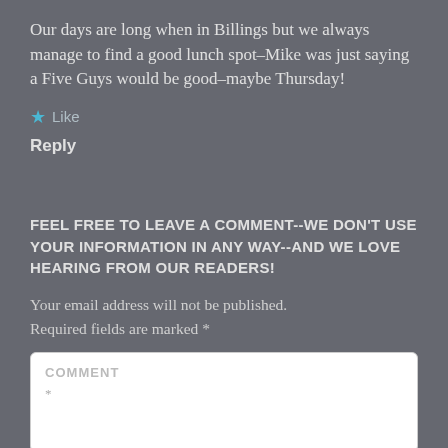Our days are long when in Billings but we always manage to find a good lunch spot–Mike was just saying a Five Guys would be good–maybe Thursday!
★ Like
Reply
FEEL FREE TO LEAVE A COMMENT--WE DON'T USE YOUR INFORMATION IN ANY WAY--AND WE LOVE HEARING FROM OUR READERS!
Your email address will not be published. Required fields are marked *
COMMENT *